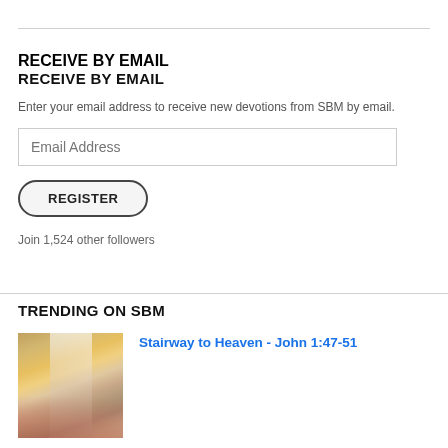RECEIVE BY EMAIL
Enter your email address to receive new devotions from SBM by email.
Email Address
REGISTER
Join 1,524 other followers
TRENDING ON SBM
[Figure (photo): Blurred photo of a stairway leading upward with warm golden and reddish tones, with blue sky and clouds above]
Stairway to Heaven - John 1:47-51